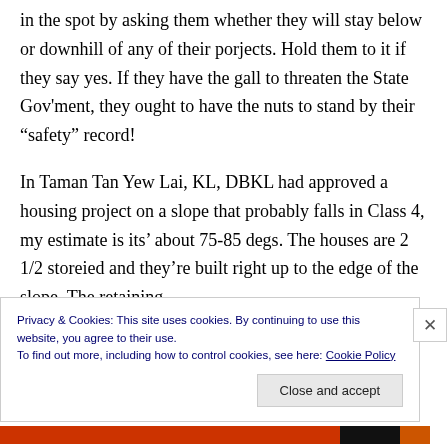in the spot by asking them whether they will stay below or downhill of any of their porjects. Hold them to it if they say yes. If they have the gall to threaten the State Gov'ment, they ought to have the nuts to stand by their “safety” record!
In Taman Tan Yew Lai, KL, DBKL had approved a housing project on a slope that probably falls in Class 4, my estimate is its’ about 75-85 degs. The houses are 2 1/2 storeied and they’re built right up to the edge of the slope. The retaining
Privacy & Cookies: This site uses cookies. By continuing to use this website, you agree to their use.
To find out more, including how to control cookies, see here: Cookie Policy
Close and accept